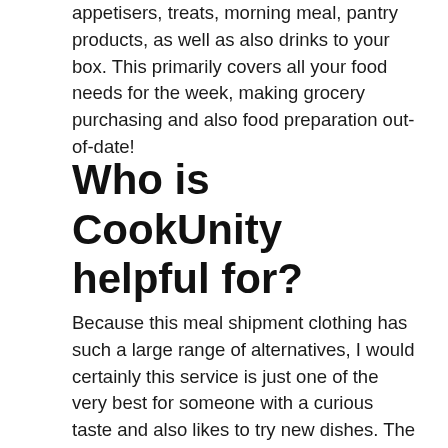appetisers, treats, morning meal, pantry products, as well as also drinks to your box. This primarily covers all your food needs for the week, making grocery purchasing and also food preparation out-of-date!
Who is CookUnity helpful for?
Because this meal shipment clothing has such a large range of alternatives, I would certainly this service is just one of the very best for someone with a curious taste and also likes to try new dishes. The food is all over the map, fairly actually, with dozens of globe foods represented, yet there is consistency in high quality and all of the